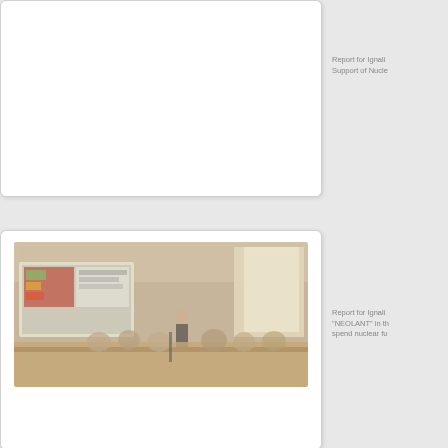[Figure (photo): Empty white card area, top card with no visible image content]
Report for Ignalina Support of Nucle...
[Figure (photo): Blurry photograph of a conference room with people seated at tables, a presenter standing, and a projection screen showing a presentation with charts. The room has large windows letting in natural light.]
Report for Ignalina "NEOLANT" in th... spend nuclear fu...